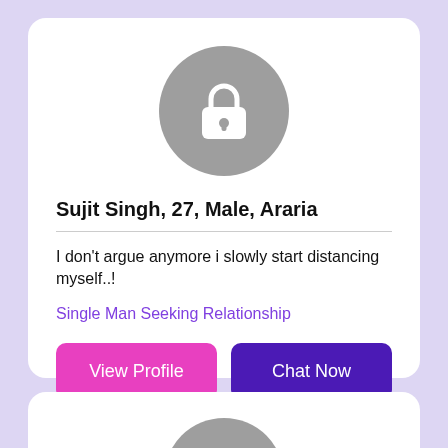[Figure (illustration): Gray circular avatar placeholder with a white lock icon, representing a locked/private profile photo]
Sujit Singh, 27, Male, Araria
I don't argue anymore i slowly start distancing myself..!
Single Man Seeking Relationship
View Profile
Chat Now
[Figure (illustration): Gray circular avatar placeholder with a white lock icon, representing a second locked/private profile photo]